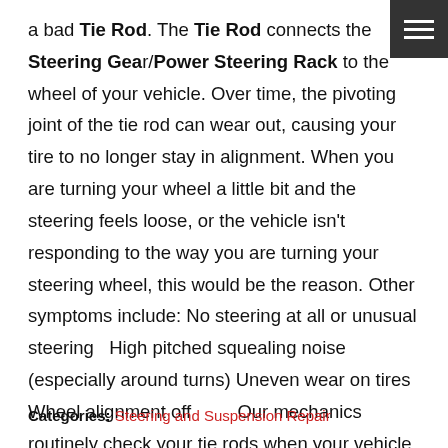a bad Tie Rod. The Tie Rod connects the Steering Gear/Power Steering Rack to the wheel of your vehicle. Over time, the pivoting joint of the tie rod can wear out, causing your tire to no longer stay in alignment. When you are turning your wheel a little bit and the steering feels loose, or the vehicle isn't responding to the way you are turning your steering wheel, this would be the reason. Other symptoms include: No steering at all or unusual steering  High pitched squealing noise (especially around turns) Uneven wear on tires Wheel alignment off          Our mechanics routinely check your tie rods when your vehicle comes in for service. To safely inspect ... read more
Categories: Steering and Suspension Repair